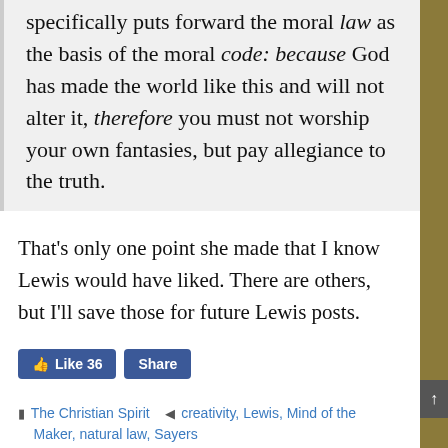specifically puts forward the moral law as the basis of the moral code: because God has made the world like this and will not alter it, therefore you must not worship your own fantasies, but pay allegiance to the truth.
That's only one point she made that I know Lewis would have liked. There are others, but I'll save those for future Lewis posts.
[Figure (screenshot): Facebook Like (36) and Share buttons]
The Christian Spirit   creativity, Lewis, Mind of the Maker, natural law, Sayers